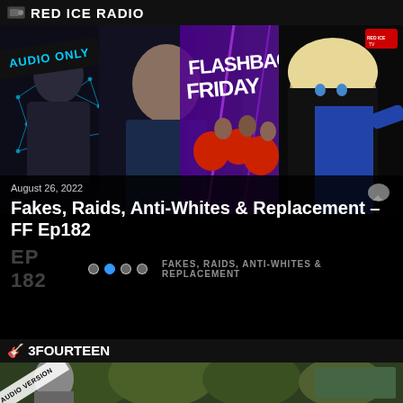RED ICE RADIO
[Figure (screenshot): Composite banner image showing several people including a man with facial recognition overlay tagged AUDIO ONLY, a Flashback Friday graphic with people in red shirts, a woman with blond hair, and a Red Ice TV logo]
August 26, 2022
Fakes, Raids, Anti-Whites & Replacement - FF Ep182
EP 182   FAKES, RAIDS, ANTI-WHITES & REPLACEMENT
🎸 3FOURTEEN
[Figure (screenshot): Bottom banner image showing a person and trees with AUDIO VERSION diagonal text overlay]